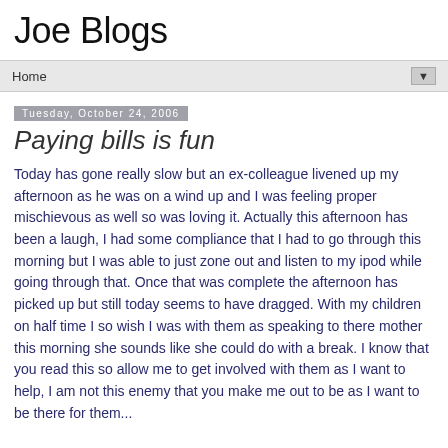Joe Blogs
Home
Tuesday, October 24, 2006
Paying bills is fun
Today has gone really slow but an ex-colleague livened up my afternoon as he was on a wind up and I was feeling proper mischievous as well so was loving it. Actually this afternoon has been a laugh, I had some compliance that I had to go through this morning but I was able to just zone out and listen to my ipod while going through that. Once that was complete the afternoon has picked up but still today seems to have dragged. With my children on half time I so wish I was with them as speaking to there mother this morning she sounds like she could do with a break. I know that you read this so allow me to get involved with them as I want to help, I am not this enemy that you make me out to be as I want to be there for them...